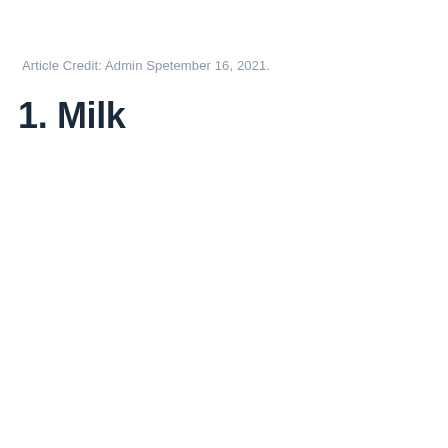Article Credit: Admin Spetember 16, 2021.
1. Milk